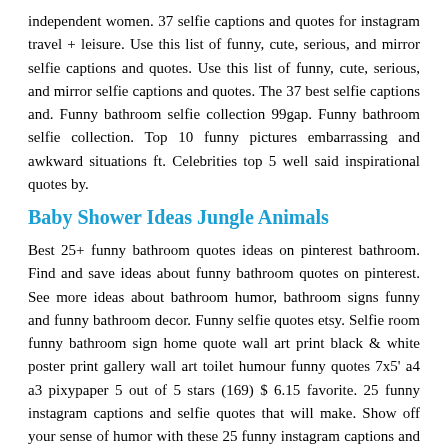independent women. 37 selfie captions and quotes for instagram travel + leisure. Use this list of funny, cute, serious, and mirror selfie captions and quotes. Use this list of funny, cute, serious, and mirror selfie captions and quotes. The 37 best selfie captions and. Funny bathroom selfie collection 99gap. Funny bathroom selfie collection. Top 10 funny pictures embarrassing and awkward situations ft. Celebrities top 5 well said inspirational quotes by.
Baby Shower Ideas Jungle Animals
Best 25+ funny bathroom quotes ideas on pinterest bathroom. Find and save ideas about funny bathroom quotes on pinterest. See more ideas about bathroom humor, bathroom signs funny and funny bathroom decor. Funny selfie quotes etsy. Selfie room funny bathroom sign home quote wall art print black & white poster print gallery wall art toilet humour funny quotes 7x5' a4 a3 pixypaper 5 out of 5 stars (169) $ 6.15 favorite. 25 funny instagram captions and selfie quotes that will make. Show off your sense of humor with these 25 funny instagram captions and selfie quotes for your followers. When it comes to taking a selfie pic, we don't always have to take ourselves so seriously. 50 best funny quotes about life to use as your next. Life is crazy and hilarious, which explains why there's plenty of funny quotes about life out there. These inspirational quotes and funny sayings are great to use on all platforms of social media. 999+ best instagram captions, cool selfie quotes. I'm always on instagram captions! I'm like an instagram stalker. Bella thorne. Best selfie quotes and instagram biosselfie becomes one of the most entertainment for all smartphone user's. Selfie jokes kappit funny jokes, quotes, pictures, memes. Funny quotes. Funny pictures. Funny videos. Here you'll find